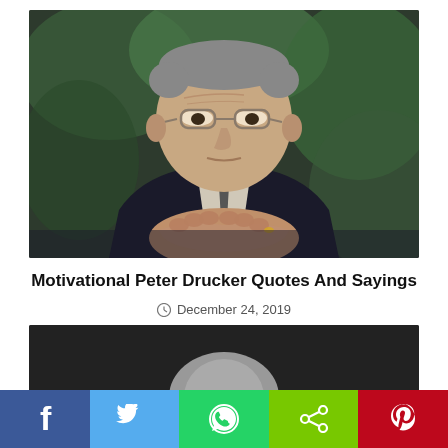[Figure (photo): Elderly man with glasses, hands clasped, wearing a dark suit with tie, green blurred foliage in background – photo of Peter Drucker]
Motivational Peter Drucker Quotes And Sayings
December 24, 2019
[Figure (photo): Second photo, partially visible, dark background with partial face/head shape visible at bottom of page]
[Figure (infographic): Social media sharing bar with Facebook, Twitter, WhatsApp, share, and Pinterest buttons]